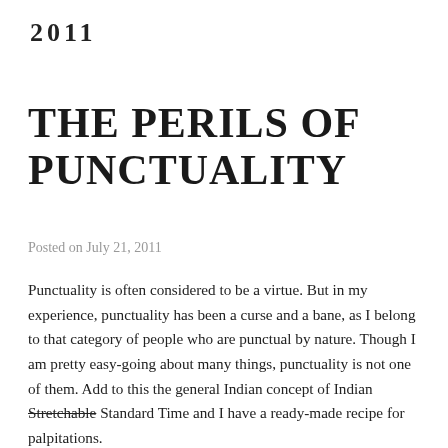2011
THE PERILS OF PUNCTUALITY
Posted on July 21, 2011
Punctuality is often considered to be a virtue. But in my experience, punctuality has been a curse and a bane, as I belong to that category of people who are punctual by nature. Though I am pretty easy-going about many things, punctuality is not one of them. Add to this the general Indian concept of Indian Stretchable Standard Time and I have a ready-made recipe for palpitations.